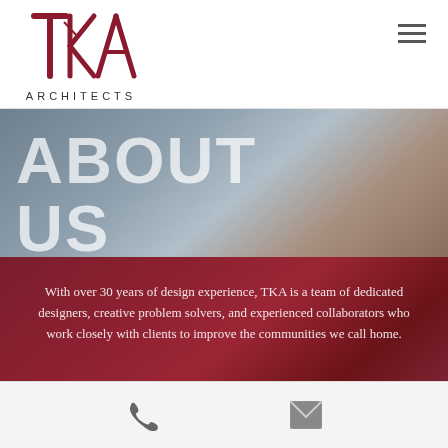[Figure (logo): TKA Architects logo with stylized TKA letters in dark red/maroon and the word ARCHITECTS below in spaced capitals]
[Figure (illustration): Hero banner with two sections: top half has blue-grey background with large white text 'ABOUT US', bottom half has dark red/maroon background with white descriptive paragraph text]
ABOUT US
With over 30 years of design experience, TKA is a team of dedicated designers, creative problem solvers, and experienced collaborators who work closely with clients to improve the communities we call home.
[Figure (other): Bottom bar with phone icon and email/envelope icon on light grey background]